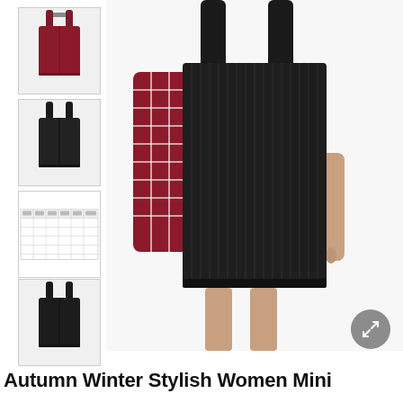[Figure (photo): Thumbnail 1: burgundy/red mini pinafore dress on model, front view]
[Figure (photo): Thumbnail 2: black mini pinafore dress on model, front view]
[Figure (photo): Thumbnail 3: size chart / measurement table]
[Figure (photo): Thumbnail 4: black mini pinafore dress on model, front view alternate]
[Figure (photo): Thumbnail 5: burgundy/dark red mini pinafore dress on model]
[Figure (photo): Thumbnail 6: dark green mini pinafore dress on model]
[Figure (photo): Thumbnail 7: purple mini pinafore dress on model]
[Figure (photo): Main product image: black corduroy/textured mini pinafore dress worn over red plaid long-sleeve shirt, model shown from shoulders to knees]
Autumn Winter Stylish Women Mini